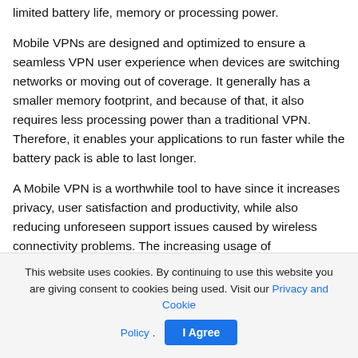limited battery life, memory or processing power.
Mobile VPNs are designed and optimized to ensure a seamless VPN user experience when devices are switching networks or moving out of coverage. It generally has a smaller memory footprint, and because of that, it also requires less processing power than a traditional VPN. Therefore, it enables your applications to run faster while the battery pack is able to last longer.
A Mobile VPN is a worthwhile tool to have since it increases privacy, user satisfaction and productivity, while also reducing unforeseen support issues caused by wireless connectivity problems. The increasing usage of
This website uses cookies. By continuing to use this website you are giving consent to cookies being used. Visit our Privacy and Cookie Policy. I Agree